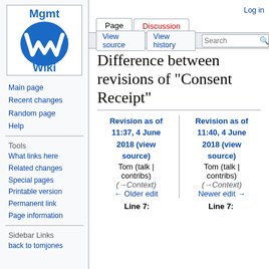[Figure (logo): Mgmt Wiki logo with blue oval containing white W and text 'Mgmt' above and 'Wiki' below]
Main page
Recent changes
Random page
Help
Tools
What links here
Related changes
Special pages
Printable version
Permanent link
Page information
Sidebar Links
back to tomjones
Log in
Difference between revisions of "Consent Receipt"
| Revision as of 11:37, 4 June 2018 (view source) | Revision as of 11:40, 4 June 2018 (view source) |
| --- | --- |
| Tom (talk | contribs)
(→Context)
← Older edit | Tom (talk | contribs)
(→Context)
Newer edit → |
Line 7:	Line 7: